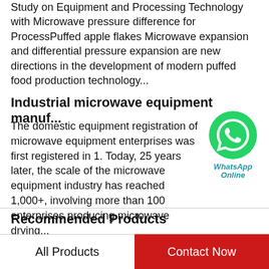Study on Equipment and Processing Technology with Microwave pressure difference for ProcessPuffed apple flakes Microwave expansion and differential pressure expansion are new directions in the development of modern puffed food production technology...
Industrial microwave equipment manuf...
The domestic equipment registration of microwave equipment enterprises was first registered in 1. Today, 25 years later, the scale of the microwave equipment industry has reached 1,000+, involving more than 100 enterprises producing microwave drying...
[Figure (illustration): WhatsApp Online green circle badge with phone icon and text 'WhatsApp Online']
Recommended Products
[Figure (photo): Product image strip with email label 'EMAIL: INFO@LDFOODMACHINE.COM' and CE SGS certification logos]
[Figure (photo): Second product image strip with email label 'EMAIL: INFO@LDFOODMACHINE.COM' and CE SGS certification logos]
All Products
Contact Now